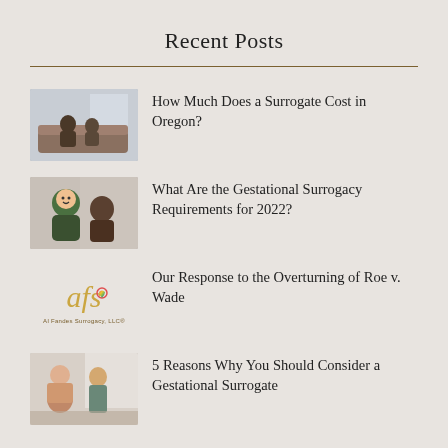Recent Posts
[Figure (photo): Man sitting on a couch, thumbnail for surrogate cost article]
How Much Does a Surrogate Cost in Oregon?
[Figure (photo): Adult smiling with a child, thumbnail for gestational surrogacy requirements article]
What Are the Gestational Surrogacy Requirements for 2022?
[Figure (logo): Al Fandes Surrogacy LLC logo in gold script]
Our Response to the Overturning of Roe v. Wade
[Figure (photo): Two women in a bright room, thumbnail for gestational surrogate article]
5 Reasons Why You Should Consider a Gestational Surrogate